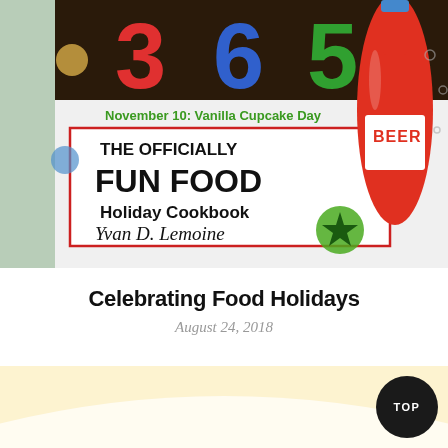[Figure (photo): Photograph of a cookbook cover titled 'The Officially Fun Food Holiday Cookbook' by Yvan D. Lemoine, showing the number 365 in colorful letters, text 'November 10: Vanilla Cupcake Day', and an illustrated red beer bottle on the right side.]
Celebrating Food Holidays
August 24, 2018
[Figure (illustration): Bottom decorative banner with a warm cream/yellow background featuring a white curved wave or arc shape.]